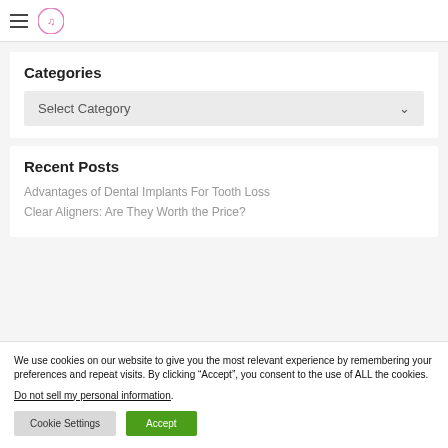[hamburger menu icon] [logo]
Categories
Select Category
Recent Posts
Advantages of Dental Implants For Tooth Loss
Clear Aligners: Are They Worth the Price?
We use cookies on our website to give you the most relevant experience by remembering your preferences and repeat visits. By clicking “Accept”, you consent to the use of ALL the cookies.
Do not sell my personal information.
Cookie Settings  Accept